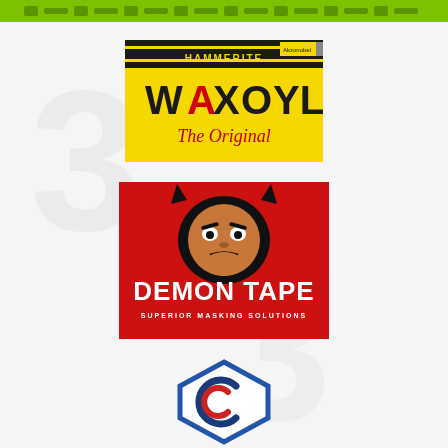[Figure (logo): Green top banner with decorative dot-dash pattern]
[Figure (logo): Hammerite Waxoyl The Original logo on yellow background with black banner]
[Figure (logo): Demon Tape Superior Masking Solutions logo on red background with devil mascot]
[Figure (logo): CC hexagonal logo with blue hexagon outline and red/navy C M letters]